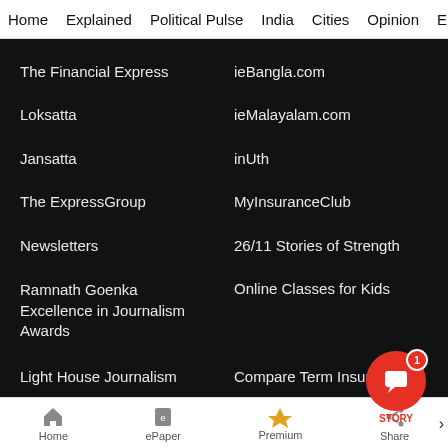Home  Explained  Political Pulse  India  Cities  Opinion  Entertainme...
The Financial Express
ieBangla.com
Loksatta
ieMalayalam.com
Jansatta
inUth
The ExpressGroup
MyInsuranceClub
Newsletters
26/11 Stories of Strength
Ramnath Goenka Excellence in Journalism Awards
Online Classes for Kids
Light House Journalism
Compare Term Insuran...
Home  ePaper  Premium  Share  STORY